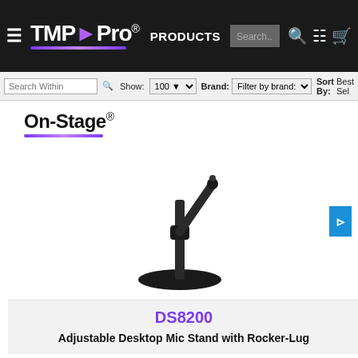TMP Pro | PRODUCTS | Search...
Search Within | Show: 100 | Brand: Filter by brand: | Sort By: Best Sel...
[Figure (logo): On-Stage brand logo with purple underline]
[Figure (photo): Black adjustable desktop microphone stand with round base and angled boom arm with rocker-lug attachment]
DS8200
Adjustable Desktop Mic Stand with Rocker-Lug